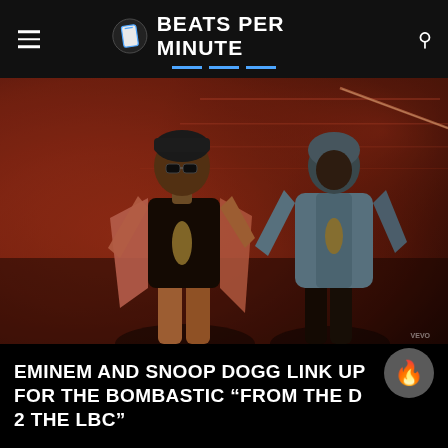BEATS PER MINUTE
[Figure (photo): Two men standing in a red/orange lit room. The man on the left wears a pink blazer over a dark shirt with a chain necklace and sunglasses. The man on the right wears a grey hoodie and chain. Background has warm red-orange hues with neon light accent.]
EMINEM AND SNOOP DOGG LINK UP FOR THE BOMBASTIC “FROM THE D 2 THE LBC”